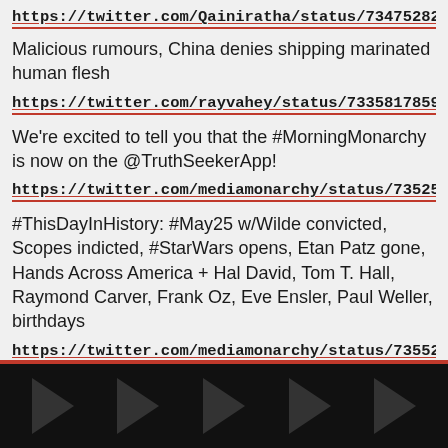https://twitter.com/Qainiratha/status/734752828707
Malicious rumours, China denies shipping marinated human flesh
https://twitter.com/rayvahey/status/73358178595556
We're excited to tell you that the #MorningMonarchy is now on the @TruthSeekerApp!
https://twitter.com/mediamonarchy/status/7352556
#ThisDayInHistory: #May25 w/Wilde convicted, Scopes indicted, #StarWars opens, Etan Patz gone, Hands Across America + Hal David, Tom T. Hall, Raymond Carver, Frank Oz, Eve Ensler, Paul Weller, birthdays
https://twitter.com/mediamonarchy/status/7355217
[Figure (other): Dark bar at bottom with triangular arrow decorations on black background]